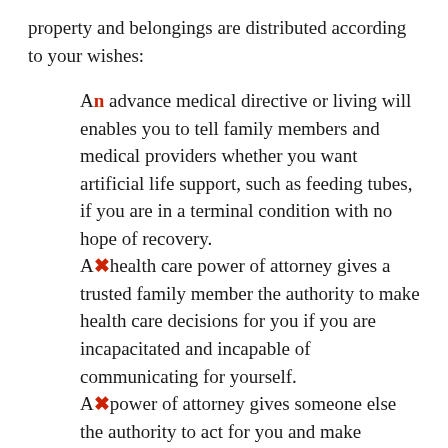property and belongings are distributed according to your wishes:
An advance medical directive or living will enables you to tell family members and medical providers whether you want artificial life support, such as feeding tubes, if you are in a terminal condition with no hope of recovery.
A health care power of attorney gives a trusted family member the authority to make health care decisions for you if you are incapacitated and incapable of communicating for yourself.
A power of attorney gives someone else the authority to act for you and make financial decisions. A durable power of attorney allows your agent to make decisions for you even if you are incapacitated and can't revoke the